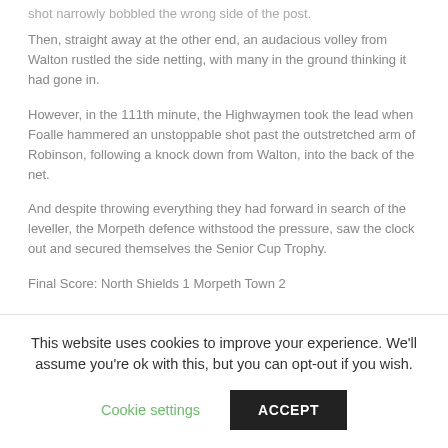shot narrowly bobbled the wrong side of the post.
Then, straight away at the other end, an audacious volley from Walton rustled the side netting, with many in the ground thinking it had gone in.
However, in the 111th minute, the Highwaymen took the lead when Foalle hammered an unstoppable shot past the outstretched arm of Robinson, following a knock down from Walton, into the back of the net.
And despite throwing everything they had forward in search of the leveller, the Morpeth defence withstood the pressure, saw the clock out and secured themselves the Senior Cup Trophy.
Final Score: North Shields 1 Morpeth Town 2
This website uses cookies to improve your experience. We'll assume you're ok with this, but you can opt-out if you wish.
Cookie settings
ACCEPT